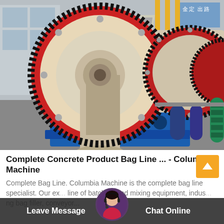[Figure (photo): Industrial ball mill machinery with large red circular gear rings, cream-colored cylindrical drum, and blue metal base/supports, photographed in a factory setting.]
Complete Concrete Product Bag Line ... - Columbia Machine
Complete Bag Line. Columbia Machine is the complete bag line specialist. Our ex... line of batching and mixing equipment, indus... ng bag filler, conveyor...